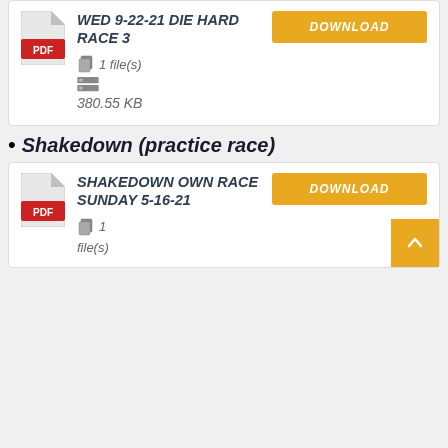[Figure (other): PDF file download card: WED 9-22-21 DIE HARD RACE 3, 1 file(s), 380.55 KB, with DOWNLOAD button]
Shakedown (practice race)
[Figure (other): PDF file download card: SHAKEDOWN OWN RACE SUNDAY 5-16-21, 1 file(s), with DOWNLOAD button]